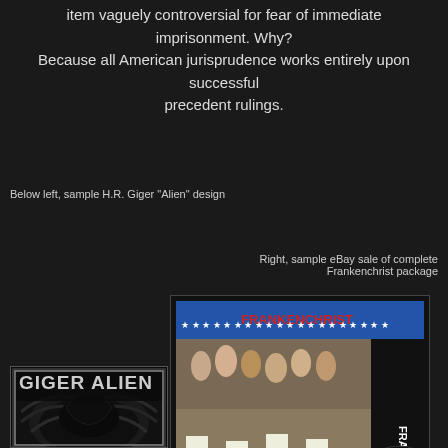item vaguely controversial for fear of immediate imprisonment. Why? Because all American jurisprudence works entirely upon successful precedent rulings.
Below left, sample H.R. Giger "Alien" design
Right, sample eBay sale of complete Frankenchrist package
[Figure (photo): Photo of Frankenchrist vinyl record album package showing parade crowd scene and vinyl record]
[Figure (photo): H.R. Giger Alien design book/artwork cover showing alien imagery]